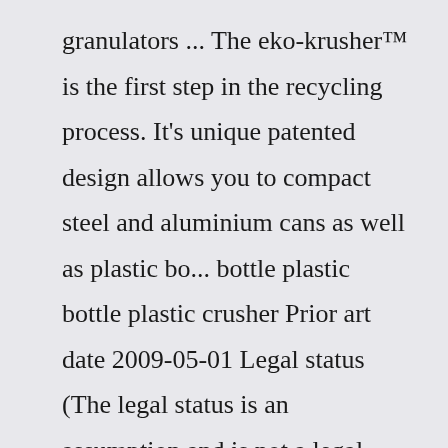granulators ... The eko-krusher™ is the first step in the recycling process. It's unique patented design allows you to compact steel and aluminium cans as well as plastic bo... bottle plastic bottle plastic crusher Prior art date 2009-05-01 Legal status (The legal status is an assumption and is not a legal conclusion. Google has not performed a legal analysis and makes no representation as to the accuracy of the status listed.)